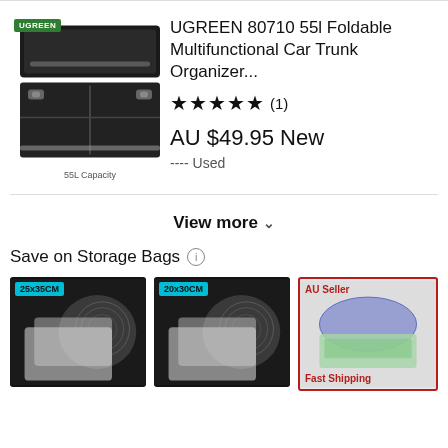[Figure (photo): UGREEN branded black foldable car trunk organizer box with lid open, showing compartments inside. Label reads '55L Capacity' at bottom.]
UGREEN 80710 55l Foldable Multifunctional Car Trunk Organizer...
★★★★★ (1)
AU $49.95 New
---- Used
View more ∨
Save on Storage Bags ⓘ
[Figure (photo): Vacuum storage bag labeled 25x35CM on dark background]
[Figure (photo): Vacuum storage bag labeled 20x30CM on dark background]
[Figure (photo): Storage bag photo with AU Seller and Fast Shipping labels in red border]